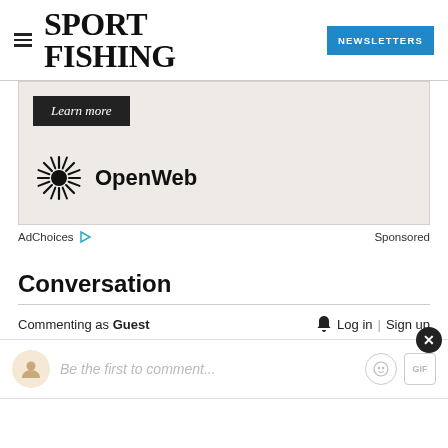SPORT FISHING — NEWSLETTERS
[Figure (other): Advertisement area with 'Learn more' button and OpenWeb logo on light beige background]
AdChoices ▷   Sponsored
Conversation
Commenting as Guest   🔔  Log in | Sign up
Be the first to comment...